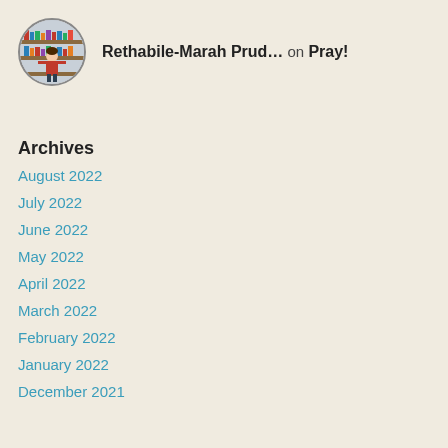[Figure (illustration): Circular avatar image of a cartoon-style person standing in front of bookshelves]
Rethabile-Marah Prud… on Pray!
Archives
August 2022
July 2022
June 2022
May 2022
April 2022
March 2022
February 2022
January 2022
December 2021